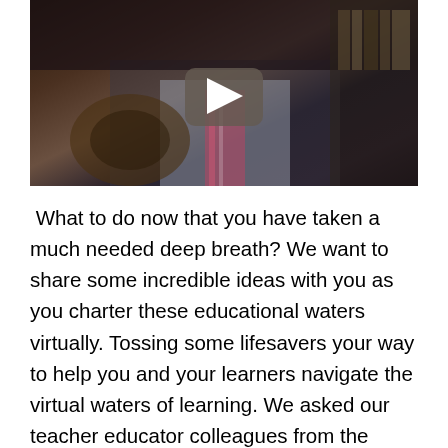[Figure (photo): Video thumbnail showing a man in a white shirt and striped tie playing acoustic guitar, with a play button overlay in the center]
What to do now that you have taken a much needed deep breath? We want to share some incredible ideas with you as you charter these educational waters virtually. Tossing some lifesavers your way to help you and your learners navigate the virtual waters of learning. We asked our teacher educator colleagues from the SMSU School of Education and across campus to contribute resources to share out with you.  A quick shoutout to our talented SMSU colleagues for responding to our request: Drs.